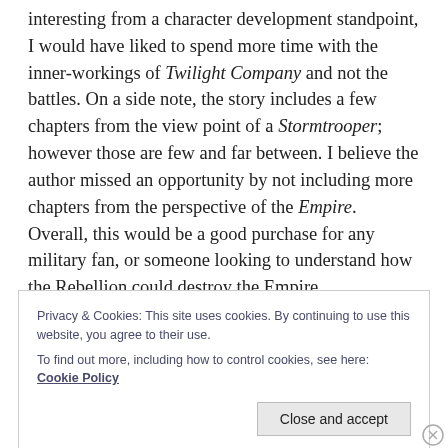interesting from a character development standpoint, I would have liked to spend more time with the inner-workings of Twilight Company and not the battles. On a side note, the story includes a few chapters from the view point of a Stormtrooper; however those are few and far between. I believe the author missed an opportunity by not including more chapters from the perspective of the Empire. Overall, this would be a good purchase for any military fan, or someone looking to understand how the Rebellion could destroy the Empire.
Privacy & Cookies: This site uses cookies. By continuing to use this website, you agree to their use. To find out more, including how to control cookies, see here: Cookie Policy
Close and accept